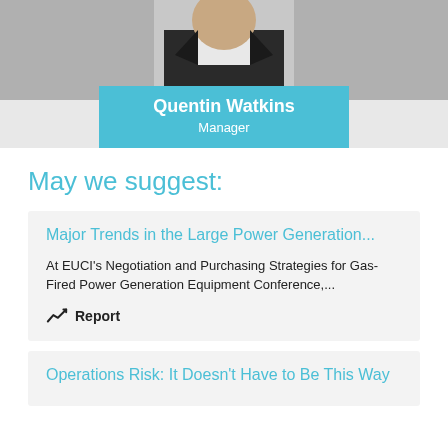[Figure (photo): Photo of Quentin Watkins in a dark suit, partially cropped at top]
Quentin Watkins
Manager
May we suggest:
Major Trends in the Large Power Generation...
At EUCI's Negotiation and Purchasing Strategies for Gas-Fired Power Generation Equipment Conference,...
Report
Operations Risk: It Doesn't Have to Be This Way